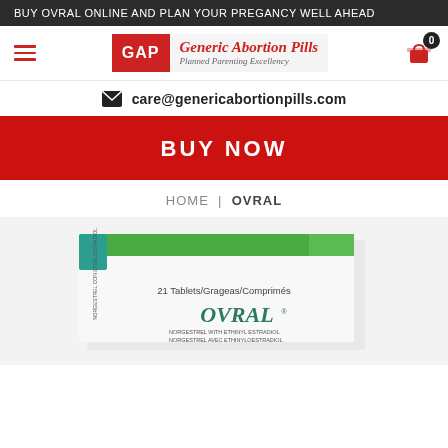BUY OVRAL ONLINE AND PLAN YOUR PREGANCY WELL AHEAD
[Figure (logo): GAP Generic Abortion Pills logo with tagline 'Planned Parenting Excellency']
care@genericabortionpills.com
BUY NOW
HOME | OVRAL
[Figure (photo): Photo of Ovral tablet box — white and green packaging, '21 Tablets/Grageas/Comprimés', NORGESTREL WITH ETHINYL ESTRADIOL / NORGESTREL AVEC ETHINYLOESTRADIOL]